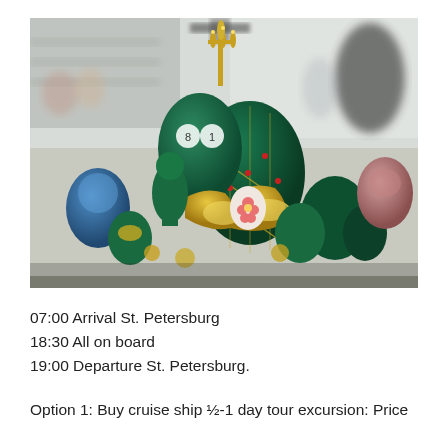[Figure (photo): Close-up photograph of ornate decorative Fabergé-style jeweled eggs in green, gold, and pink colors displayed in a shop in St. Petersburg. Candlestick and other decorative items visible in the background.]
07:00 Arrival St. Petersburg
18:30 All on board
19:00 Departure St. Petersburg.
Option 1: Buy cruise ship ½-1 day tour excursion: Price